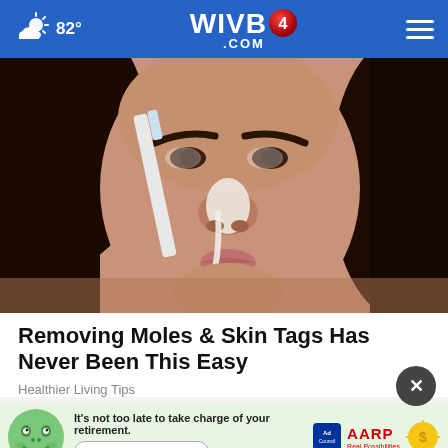WIVB4.COM — 82° weather — navigation header
[Figure (photo): Close-up photo of a young woman with dark hair applying a white strip or paste to her nose with a brush or applicator]
Removing Moles & Skin Tags Has Never Been This Easy
Healthier Living Tips
[Figure (infographic): AARP advertisement banner: 'It's not too late to take charge of your retirement. Get your top 3 tips →' with Ad Council logo, AARP logo, and mascot face]